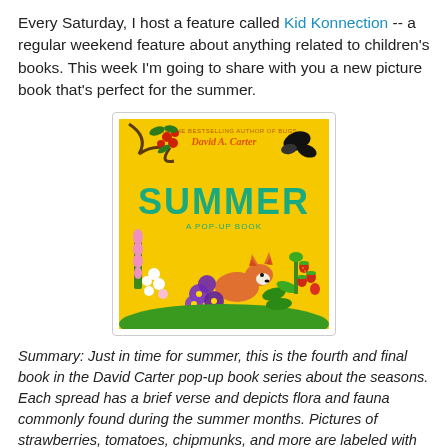Every Saturday, I host a feature called Kid Konnection -- a regular weekend feature about anything related to children's books. This week I'm going to share with you a new picture book that's perfect for the summer.
[Figure (illustration): Book cover of 'Summer: A Pop-Up Book' by David A. Carter. Yellow background with large teal/green text 'SUMMER' in the center, subtitle 'A POP-UP BOOK' below. Top reads 'FROM THE BESTSELLING AUTHOR OF BUGS / David A. Carter'. Illustrated nature elements: tree branch with red berries top-left, black butterfly top-right, fox peeking through flowers bottom-center, pink foxglove flowers on left, purple clematis flowers, strawberry plant on right with red berries, green foliage.]
Summary: Just in time for summer, this is the fourth and final book in the David Carter pop-up book series about the seasons. Each spread has a brief verse and depicts flora and fauna commonly found during the summer months. Pictures of strawberries, tomatoes, chipmunks, and more are labeled with simple text, making the book easy for very young readers to understand and enjoy. -- Abrams